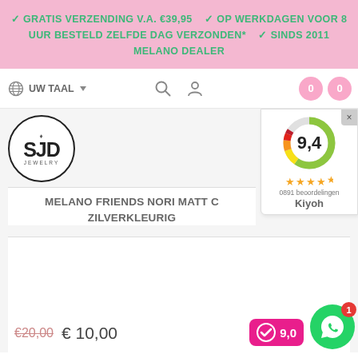✓ GRATIS VERZENDING V.A. €39,95   ✓ OP WERKDAGEN VOOR 8 UUR BESTELD ZELFDE DAG VERZONDEN*   ✓ SINDS 2011 MELANO DEALER
[Figure (logo): SJD Jewelry logo in circular border]
UW TAAL
[Figure (other): Rating widget showing 9,4 score with donut chart, 4.5 stars, 0891 beoordelingen, Kiyoh]
MELANO FRIENDS NORI MATT C ZILVERKLEURIG
€20,00  € 10,00
[Figure (logo): Pink rating badge with checkmark icon and 9,0 score]
[Figure (other): WhatsApp chat button (green circle) with red badge showing 1]